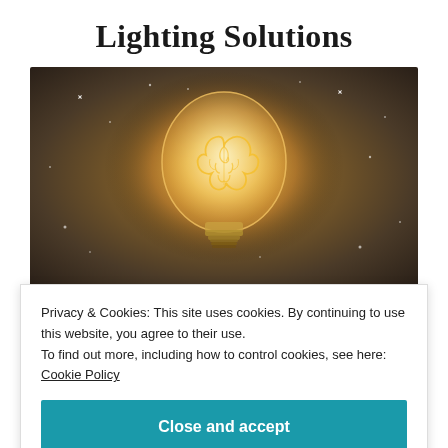Lighting Solutions
[Figure (photo): A glowing light bulb with a brain visible inside, set against a dark starry background with a warm golden glow radiating outward.]
Privacy & Cookies: This site uses cookies. By continuing to use this website, you agree to their use.
To find out more, including how to control cookies, see here: Cookie Policy
Close and accept
expertise to cater to it!